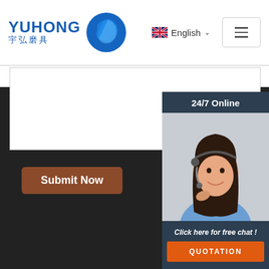[Figure (logo): Yuhong Abrasive Co. logo with Chinese characters 宇弘磨具 and blue wave icon]
English
[Figure (other): Submit Now button on dark background]
[Figure (photo): 24/7 Online chat widget with photo of smiling woman with headset]
Click here for free chat !
QUOTATION
Copyright © Yuhong Abrasive Co., Ltd.
Sitemap | paraguay reliable quality alibaba abrasives | thailand elegant style auction cowheel | guyana reliable quality alibaba cowheel